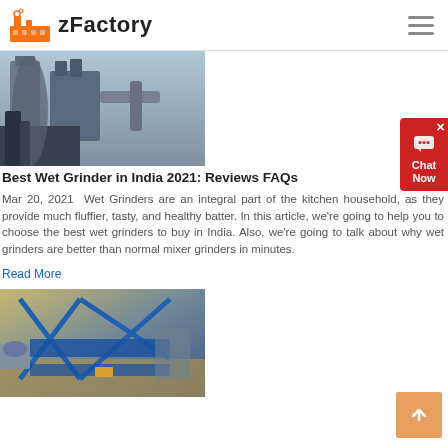zFactory
[Figure (photo): Industrial machinery/factory equipment with large silos and pipes, aerial or close-up view]
Best Wet Grinder in India 2021: Reviews FAQs
Mar 20, 2021  Wet Grinders are an integral part of the kitchen household, as they provide much fluffier, tasty, and healthy batter. In this article, we're going to help you to choose the best wet grinders to buy in India. Also, we're going to talk about why wet grinders are better than normal mixer grinders in minutes.
Read More
[Figure (photo): Construction or mining site with blue metal framework/structure and heavy equipment]